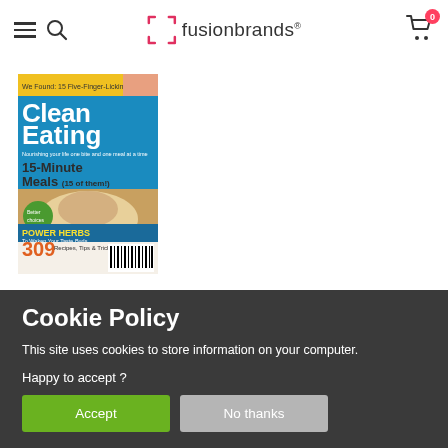fusionbrands
[Figure (photo): Clean Eating magazine cover featuring 15-Minute Meals, Power Herbs, 309 Recipes Tips & Tricks, and a dish of pasta/food on the cover]
Cookie Policy
This site uses cookies to store information on your computer.
Happy to accept ?
Accept   No thanks